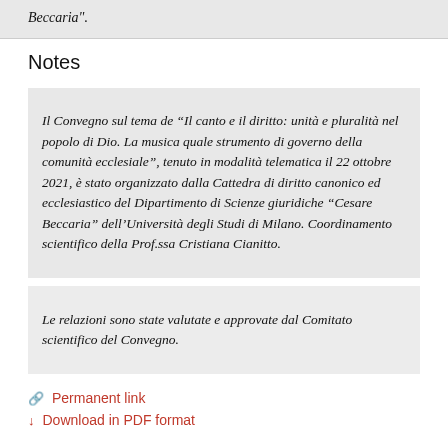Beccaria".
Notes
Il Convegno sul tema de “Il canto e il diritto: unità e pluralità nel popolo di Dio. La musica quale strumento di governo della comunità ecclesiale”, tenuto in modalità telematica il 22 ottobre 2021, è stato organizzato dalla Cattedra di diritto canonico ed ecclesiastico del Dipartimento di Scienze giuridiche “Cesare Beccaria” dell’Università degli Studi di Milano. Coordinamento scientifico della Prof.ssa Cristiana Cianitto.
Le relazioni sono state valutate e approvate dal Comitato scientifico del Convegno.
Permanent link
Download in PDF format